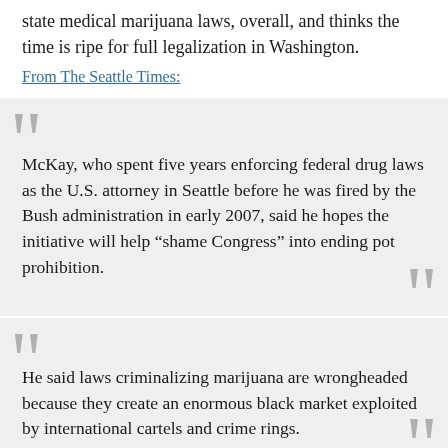state medical marijuana laws, overall, and thinks the time is ripe for full legalization in Washington.
From The Seattle Times:
McKay, who spent five years enforcing federal drug laws as the U.S. attorney in Seattle before he was fired by the Bush administration in early 2007, said he hopes the initiative will help “shame Congress” into ending pot prohibition.
He said laws criminalizing marijuana are wrongheaded because they create an enormous black market exploited by international cartels and crime rings.